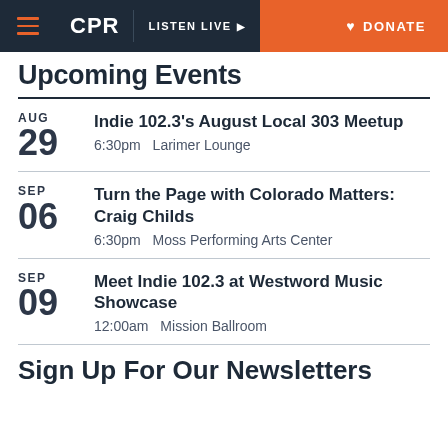CPR | LISTEN LIVE | DONATE
Upcoming Events
AUG 29 — Indie 102.3's August Local 303 Meetup — 6:30pm Larimer Lounge
SEP 06 — Turn the Page with Colorado Matters: Craig Childs — 6:30pm Moss Performing Arts Center
SEP 09 — Meet Indie 102.3 at Westword Music Showcase — 12:00am Mission Ballroom
Sign Up For Our Newsletters